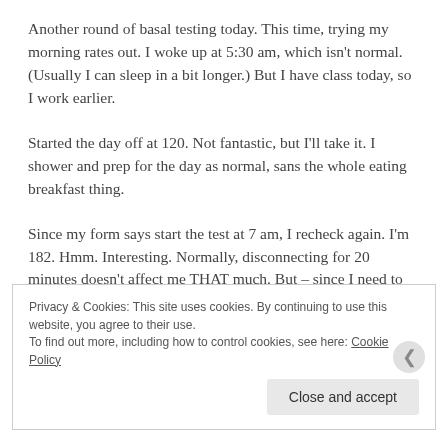Another round of basal testing today. This time, trying my morning rates out. I woke up at 5:30 am, which isn't normal. (Usually I can sleep in a bit longer.) But I have class today, so I work earlier.
Started the day off at 120. Not fantastic, but I'll take it. I shower and prep for the day as normal, sans the whole eating breakfast thing.
Since my form says start the test at 7 am, I recheck again. I'm 182. Hmm. Interesting. Normally, disconnecting for 20 minutes doesn't affect me THAT much. But – since I need to see where this is going, I don't correct and head to work.
Privacy & Cookies: This site uses cookies. By continuing to use this website, you agree to their use.
To find out more, including how to control cookies, see here: Cookie Policy